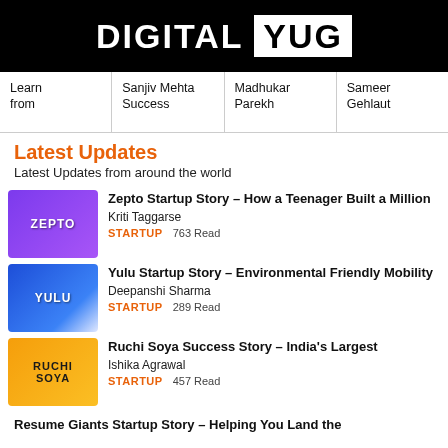DIGITAL YUG
Learn from | Sanjiv Mehta Success | Madhukar Parekh | Sameer Gehlaut
Latest Updates
Latest Updates from around the world
Zepto Startup Story – How a Teenager Built a Million | Kriti Taggarse | STARTUP   763 Read
Yulu Startup Story – Environmental Friendly Mobility | Deepanshi Sharma | STARTUP   289 Read
Ruchi Soya Success Story – India's Largest | Ishika Agrawal | STARTUP   457 Read
Resume Giants Startup Story – Helping You Land the